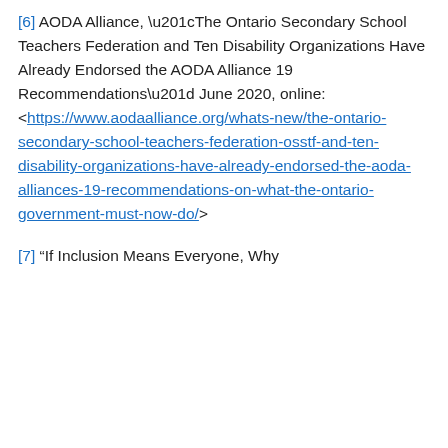[6] AODA Alliance, “The Ontario Secondary School Teachers Federation and Ten Disability Organizations Have Already Endorsed the AODA Alliance 19 Recommendations” June 2020, online: <https://www.aodaalliance.org/whats-new/the-ontario-secondary-school-teachers-federation-osstf-and-ten-disability-organizations-have-already-endorsed-the-aoda-alliances-19-recommendations-on-what-the-ontario-government-must-now-do/>
[7] “If Inclusion Means Everyone, Why